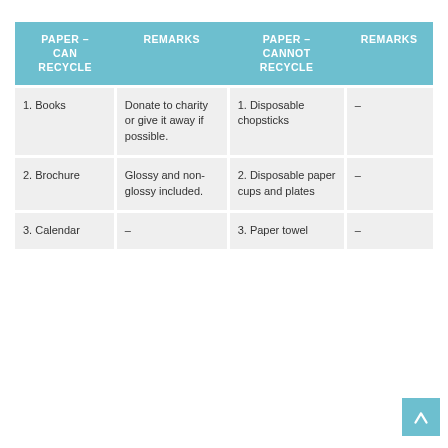| PAPER – CAN RECYCLE | REMARKS | PAPER – CANNOT RECYCLE | REMARKS |
| --- | --- | --- | --- |
| 1. Books | Donate to charity or give it away if possible. | 1. Disposable chopsticks | – |
| 2. Brochure | Glossy and non-glossy included. | 2. Disposable paper cups and plates | – |
| 3. Calendar | – | 3. Paper towel | – |